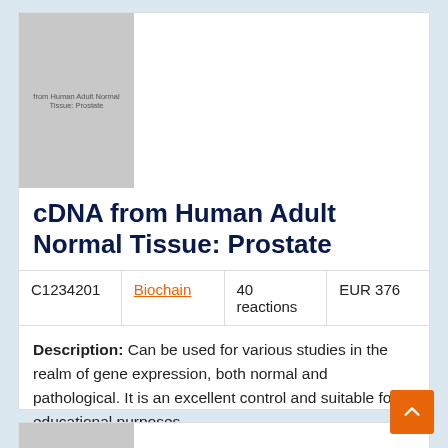[Figure (photo): Product image placeholder for cDNA from Human Adult Normal Tissue: Prostate, with text 'from Human Adult Normal Tissue: Prostate']
cDNA from Human Adult Normal Tissue: Prostate
| C1234201 | Biochain | 40 reactions | EUR 376 |
| --- | --- | --- | --- |
Description: Can be used for various studies in the realm of gene expression, both normal and pathological. It is an excellent control and suitable for educational purposes.
[Figure (photo): Second product image placeholder with text 'from Human Adult Normal Tissue: Bone']